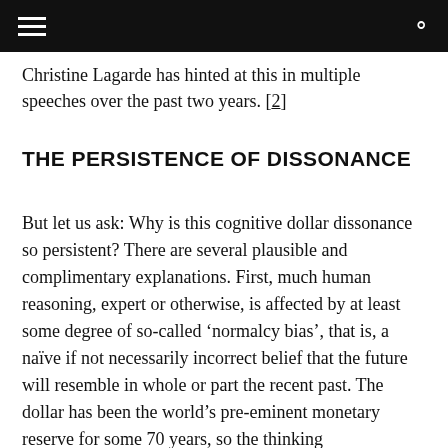Christine Lagarde has hinted at this in multiple speeches over the past two years. [2]
THE PERSISTENCE OF DISSONANCE
But let us ask: Why is this cognitive dollar dissonance so persistent? There are several plausible and complimentary explanations. First, much human reasoning, expert or otherwise, is affected by at least some degree of so-called ‘normalcy bias’, that is, a naïve if not necessarily incorrect belief that the future will resemble in whole or part the recent past. The dollar has been the world’s pre-eminent monetary reserve for some 70 years, so the thinking